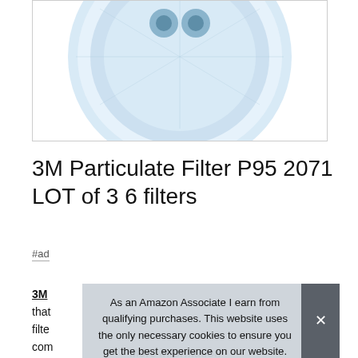[Figure (photo): Product photo of 3M Particulate Filter P95 2071 — circular blue/white filter viewed from above, partially cropped, shown inside a bordered white box]
3M Particulate Filter P95 2071 LOT of 3 6 filters
#ad
3M … Quantity Pack of 3. Nice large round face covering that … filter … com…
As an Amazon Associate I earn from qualifying purchases. This website uses the only necessary cookies to ensure you get the best experience on our website. More information
More information